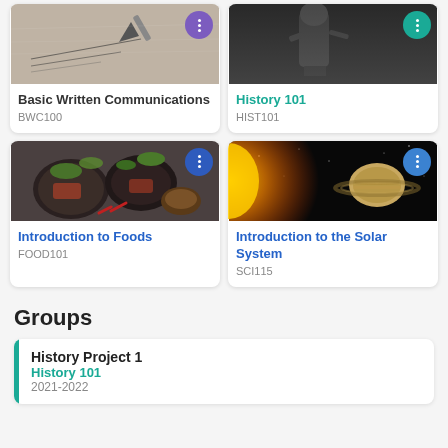[Figure (screenshot): Course card image: pen writing on paper (Basic Written Communications)]
Basic Written Communications
BWC100
[Figure (screenshot): Course card image: black and white statue (History 101)]
History 101
HIST101
[Figure (screenshot): Course card image: colorful food dishes (Introduction to Foods)]
Introduction to Foods
FOOD101
[Figure (screenshot): Course card image: solar system planets (Introduction to the Solar System)]
Introduction to the Solar System
SCI115
Groups
History Project 1
History 101
2021-2022